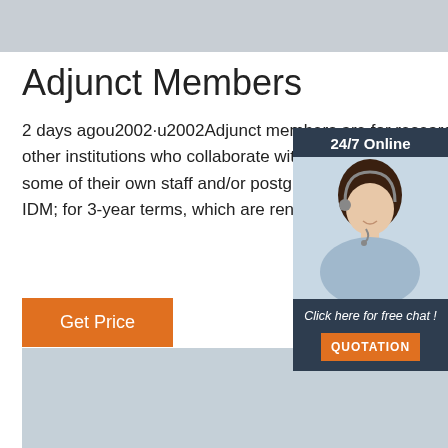[Figure (other): Top gray banner strip]
Adjunct Members
2 days agou2002·u2002Adjunct members are for researchers employed by other institutions who collaborate with IDM Members to the extent that some of their own staff and/or postgraduate students may work within the IDM; for 3-year terms, which are renewable.
[Figure (infographic): 24/7 Online chat advertisement panel with agent photo, 'Click here for free chat!' text, and QUOTATION orange button]
[Figure (other): Get Price orange button]
[Figure (other): TOP navigation button with orange house/dots icon and orange TOP text]
[Figure (other): Bottom gray-blue band]